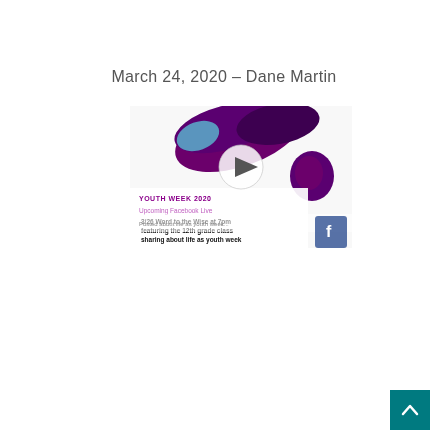March 24, 2020 – Dane Martin
[Figure (screenshot): Screenshot of a Facebook video post for Youth Week 2020. Text reads: 'YOUTH WEEK 2020', 'Upcoming Facebook Live', '3/26 Word to the Wise at 7pm featuring the 12th grade class sharing about life as youth week theme'. A play button overlay is visible on the image. The thumbnail shows purple abstract blob shapes on a white background, with a Facebook icon in the lower right corner.]